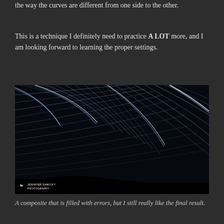the way the curves are different from one side to the other.
This is a technique I definitely need to practice A LOT more, and I am looking forward to learning the proper settings.
[Figure (photo): Star trails long-exposure composite photo showing curved star trails across a dark night sky with a silhouetted hill at bottom. Photographer watermark: Jennifer Sawicky Photography with heron logo in bottom left corner.]
A composite that is filled with errors, but I still really like the final result.